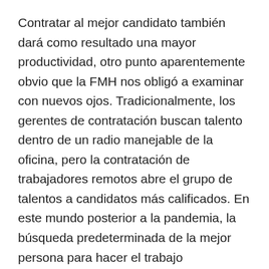Contratar al mejor candidato también dará como resultado una mayor productividad, otro punto aparentemente obvio que la FMH nos obligó a examinar con nuevos ojos. Tradicionalmente, los gerentes de contratación buscan talento dentro de un radio manejable de la oficina, pero la contratación de trabajadores remotos abre el grupo de talentos a candidatos más calificados. En este mundo posterior a la pandemia, la búsqueda predeterminada de la mejor persona para hacer el trabajo probablemente incluirá ambas opciones.
La colaboración en la oficina permite que tanto los empleados nuevos como los más jóvenes absorban el conocimiento de sus superiores para que la empresa pueda crecer y madurar, pero el trabajo remoto puede mantener las puertas abiertas...